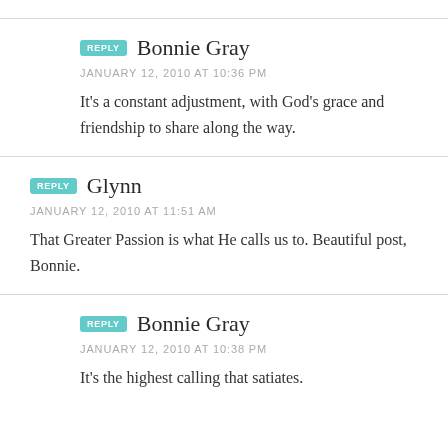REPLY  Bonnie Gray
JANUARY 12, 2010 AT 10:36 PM
It's a constant adjustment, with God's grace and friendship to share along the way.
REPLY  Glynn
JANUARY 12, 2010 AT 11:51 AM
That Greater Passion is what He calls us to. Beautiful post, Bonnie.
REPLY  Bonnie Gray
JANUARY 12, 2010 AT 10:38 PM
It's the highest calling that satiates.